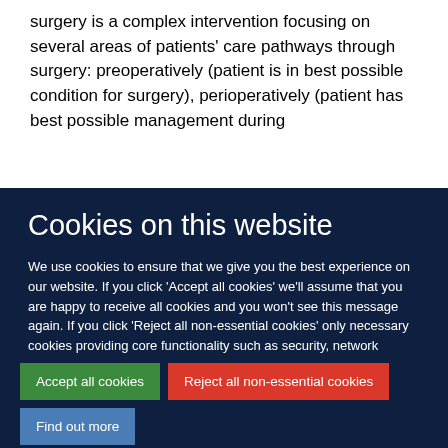surgery is a complex intervention focusing on several areas of patients' care pathways through surgery: preoperatively (patient is in best possible condition for surgery), perioperatively (patient has best possible management during
Cookies on this website
We use cookies to ensure that we give you the best experience on our website. If you click 'Accept all cookies' we'll assume that you are happy to receive all cookies and you won't see this message again. If you click 'Reject all non-essential cookies' only necessary cookies providing core functionality such as security, network management, and accessibility will be enabled. Click 'Find out more' for information on how to change your cookie settings.
Accept all cookies | Reject all non-essential cookies | Find out more